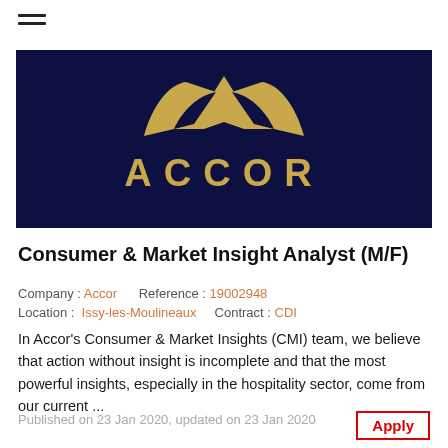[Figure (logo): Accor logo — gold stylized A symbol and ACCOR wordmark on dark navy background]
Consumer & Market Insight Analyst (M/F)
Company : Accor    Reference : 19002948
Location : Issy-les-Moulineaux    Contract : CDI
In Accor's Consumer & Market Insights (CMI) team, we believe that action without insight is incomplete and that the most powerful insights, especially in the hospitality sector, come from our current ...
Published on 23 Jan 2020, updated on 23 Jan 2020